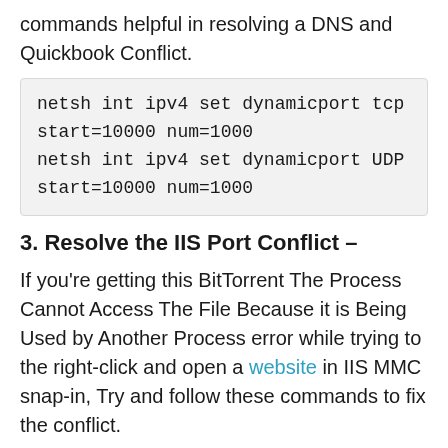commands helpful in resolving a DNS and Quickbook Conflict.
3. Resolve the IIS Port Conflict –
If you're getting this BitTorrent The Process Cannot Access The File Because it is Being Used by Another Process error while trying to the right-click and open a website in IIS MMC snap-in, Try and follow these commands to fix the conflict.